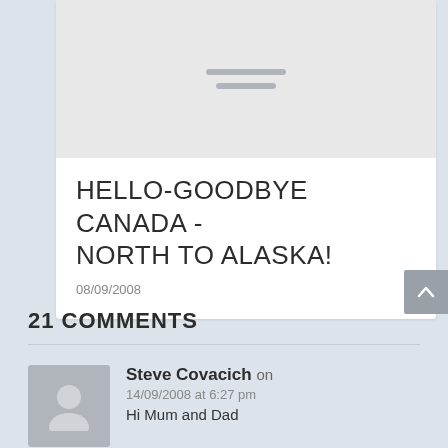[Figure (illustration): Gray placeholder image with two short horizontal lines in the center, representing a broken or loading image thumbnail]
HELLO-GOODBYE CANADA - NORTH TO ALASKA!
08/09/2008
21 COMMENTS
Steve Covacich on 14/09/2008 at 6:27 pm Hi Mum and Dad